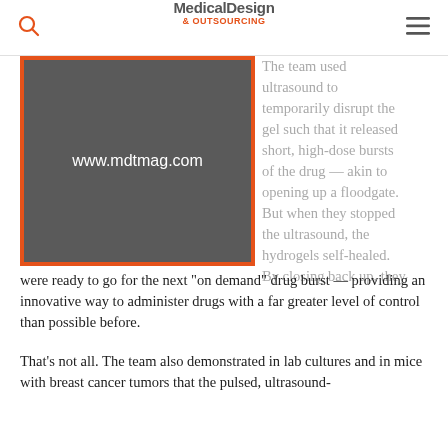Medical Design & Outsourcing
[Figure (other): Advertisement placeholder with dark gray background, red border, and URL www.mdtmag.com]
The team used ultrasound to temporarily disrupt the gel such that it released short, high-dose bursts of the drug — akin to opening up a floodgate. But when they stopped the ultrasound, the hydrogels self-healed. By closing back up, they were ready to go for the next “on demand” drug burst — providing an innovative way to administer drugs with a far greater level of control than possible before.
That’s not all. The team also demonstrated in lab cultures and in mice with breast cancer tumors that the pulsed, ultrasound-